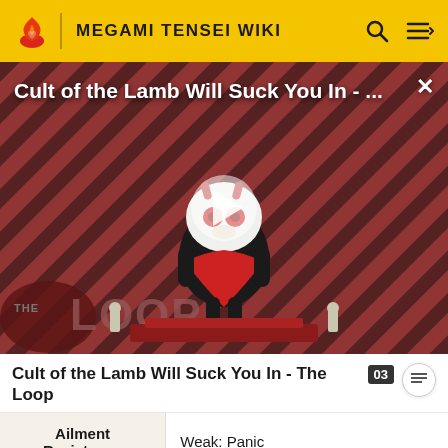MEGAMI TENSEI WIKI
[Figure (screenshot): Video thumbnail showing a cartoon lamb character on a striped red/black background with 'THE LOOP' text overlay. Title overlay: 'Cult of the Lamb Will Suck You In - ...' with a play button in the center and a close X button.]
Cult of the Lamb Will Suck You In - The Loop
|  |  |
| --- | --- |
| Ailment Resistance | Weak: Panic |
| Normal Attack | Phys x1-3, 1 enemy |